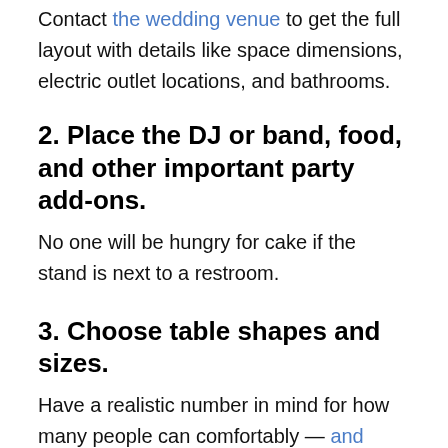Contact the wedding venue to get the full layout with details like space dimensions, electric outlet locations, and bathrooms.
2. Place the DJ or band, food, and other important party add-ons.
No one will be hungry for cake if the stand is next to a restroom.
3. Choose table shapes and sizes.
Have a realistic number in mind for how many people can comfortably — and safely — sit at each table. The venue or rentals company can assist with this.